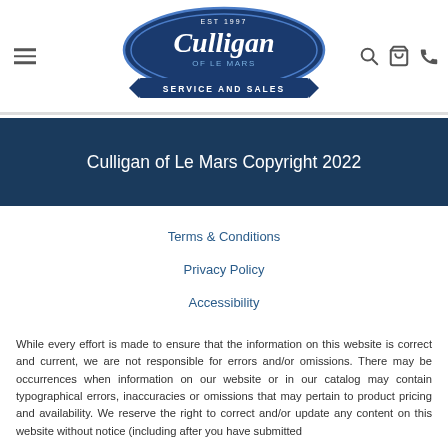[Figure (logo): Culligan of Le Mars Service and Sales logo — oval blue badge with script Culligan text, EST 1997, ribbon below reading SERVICE AND SALES]
Culligan of Le Mars Copyright 2022
Terms & Conditions
Privacy Policy
Accessibility
While every effort is made to ensure that the information on this website is correct and current, we are not responsible for errors and/or omissions. There may be occurrences when information on our website or in our catalog may contain typographical errors, inaccuracies or omissions that may pertain to product pricing and availability. We reserve the right to correct and/or update any content on this website without notice (including after you have submitted